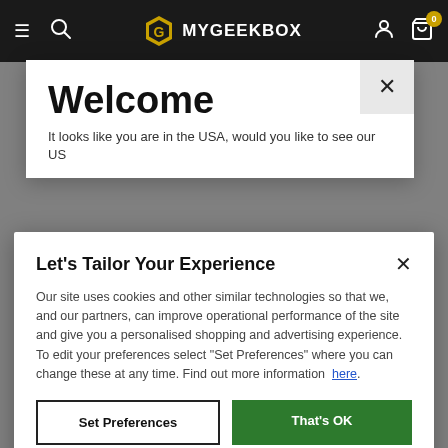[Figure (screenshot): MyGeekBox website navigation bar with hamburger menu, search icon, logo (gold hexagon G + MYGEEKBOX text), user icon, and cart icon with badge showing 0]
Welcome
It looks like you are in the USA, would you like to see our US
Let's Tailor Your Experience
Our site uses cookies and other similar technologies so that we, and our partners, can improve operational performance of the site and give you a personalised shopping and advertising experience. To edit your preferences select "Set Preferences" where you can change these at any time. Find out more information here.